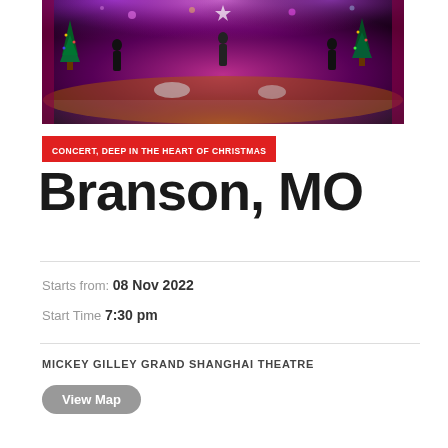[Figure (photo): Concert stage photo showing performers on a stage decorated with Christmas trees and purple/magenta lighting, with snow-like elements and festive decorations]
CONCERT, DEEP IN THE HEART OF CHRISTMAS
Branson, MO
Starts from: 08 Nov 2022
Start Time 7:30 pm
MICKEY GILLEY GRAND SHANGHAI THEATRE
View Map